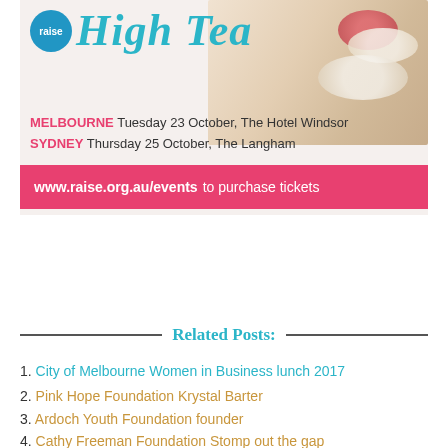[Figure (infographic): Raise High Tea event banner with logo, decorative food image (scones with strawberries and cream), italic teal 'High Tea' title, event location details for Melbourne and Sydney, and a pink call-to-action bar with website URL.]
MELBOURNE Tuesday 23 October, The Hotel Windsor
SYDNEY Thursday 25 October, The Langham
www.raise.org.au/events to purchase tickets
Related Posts:
City of Melbourne Women in Business lunch 2017
Pink Hope Foundation Krystal Barter
Ardoch Youth Foundation founder
Cathy Freeman Foundation Stomp out the gap